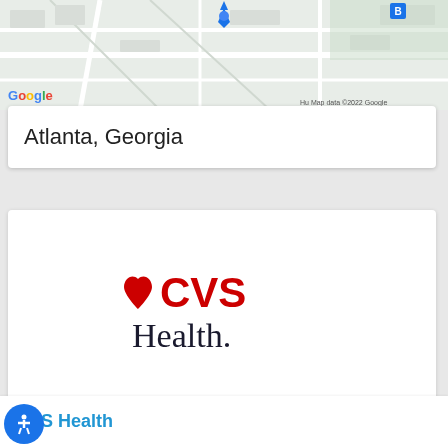[Figure (screenshot): Google Maps screenshot showing a street map with a location pin. 'Google' logo visible at bottom left. 'Hu Map data ©2022 Google' credit at bottom right.]
Atlanta, Georgia
[Figure (logo): CVS Health logo: red heart icon followed by red 'CVS' text, and 'Health.' in black below.]
CVS Health